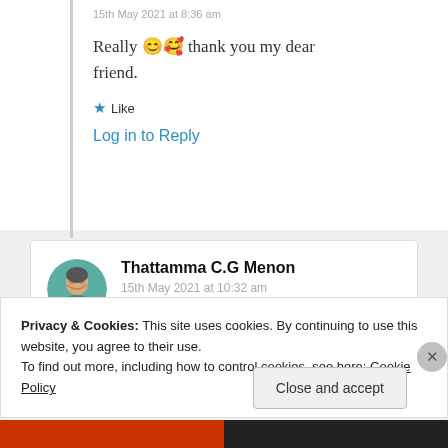15th May 2021 at 8:36 am
Really 😊🥰 thank you my dear friend.
★ Like
Log in to Reply
[Figure (photo): Avatar photo of Thattamma C.G Menon - a woman wearing teal clothing and a necklace]
Thattamma C.G Menon
15th May 2021 at 10:32 am
Privacy & Cookies: This site uses cookies. By continuing to use this website, you agree to their use.
To find out more, including how to control cookies, see here: Cookie Policy
Close and accept